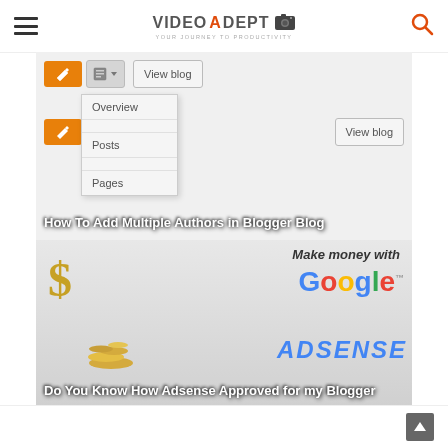VideoAdept
[Figure (screenshot): Blogger blog interface showing toolbar with orange pencil/edit button, document/pages dropdown menu showing Overview, Posts, Pages options, View blog button. Overlay text: How To Add Multiple Authors in Blogger Blog]
[Figure (screenshot): Make money with Google Adsense promotional image with golden dollar sign, pile of money/coins, Google logo and Adsense text. Overlay text: Do You Know How Adsense Approved for my Blogger]